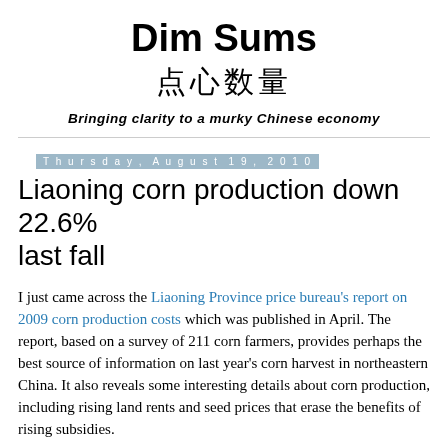Dim Sums 点心数量
Bringing clarity to a murky Chinese economy
Thursday, August 19, 2010
Liaoning corn production down 22.6% last fall
I just came across the Liaoning Province price bureau's report on 2009 corn production costs which was published in April. The report, based on a survey of 211 corn farmers, provides perhaps the best source of information on last year's corn harvest in northeastern China. It also reveals some interesting details about corn production, including rising land rents and seed prices that erase the benefits of rising subsidies.